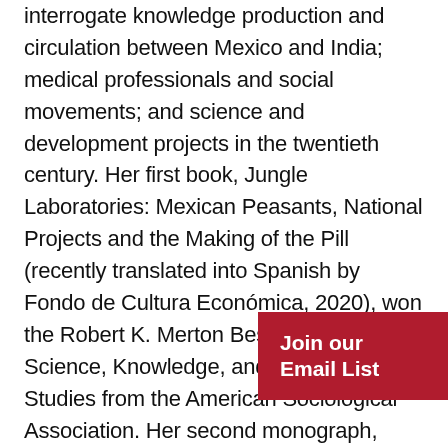interrogate knowledge production and circulation between Mexico and India; medical professionals and social movements; and science and development projects in the twentieth century. Her first book, Jungle Laboratories: Mexican Peasants, National Projects and the Making of the Pill (recently translated into Spanish by Fondo de Cultura Económica, 2020), won the Robert K. Merton Best Book prize in Science, Knowledge, and Technology Studies from the American Sociological Association. Her second monograph, Sanitizing Rebellion: Physician Strikes, Public Health and Repression in Twentieth Century Mexico, examines the role of healthcare providers as both critical actors in the formation of modern states and as social
Join our Email List